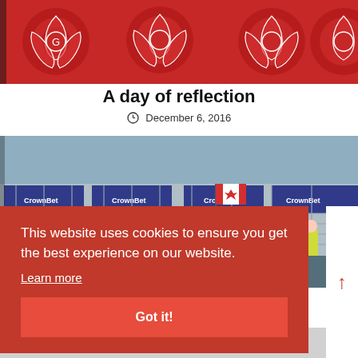[Figure (photo): Red roses illustration/graphic banner at the top of the page]
A day of reflection
December 6, 2016
[Figure (photo): Photo of a person waving a Canadian flag in front of a CrownBet branded fence/barrier at what appears to be a motorsport event, with people in high-visibility vests in the background]
This website uses cookies to ensure you get the best experience on our website.
Learn more
Got it!
The Road to Success. Meet the